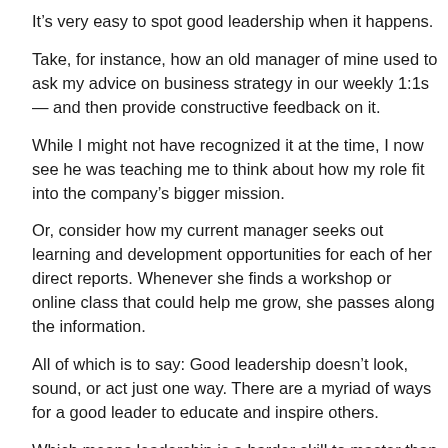It’s very easy to spot good leadership when it happens.
Take, for instance, how an old manager of mine used to ask my advice on business strategy in our weekly 1:1s — and then provide constructive feedback on it.
While I might not have recognized it at the time, I now see he was teaching me to think about how my role fit into the company’s bigger mission.
Or, consider how my current manager seeks out learning and development opportunities for each of her direct reports. Whenever she finds a workshop or online class that could help me grow, she passes along the information.
All of which is to say: Good leadership doesn’t look, sound, or act just one way. There are a myriad of ways for a good leader to educate and inspire others.
Which means leadership is a harder skill to master than others. It isn’t like mastering Excel, which requires knowledge of specific, fixed formulas. Instead, good leadership is more ambiguous, and mastering it is less of a linear path. There